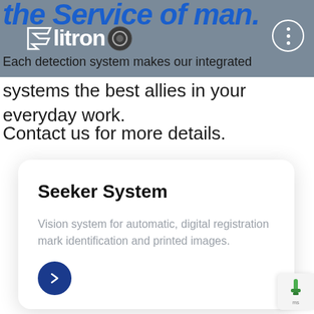[Figure (logo): Elitron logo with camera/lens icon on grey header bar, with a three-dot menu button in top right corner]
Each detection system makes our integrated systems the best allies in your everyday work.
Contact us for more details.
Seeker System
Vision system for automatic, digital registration mark identification and printed images.